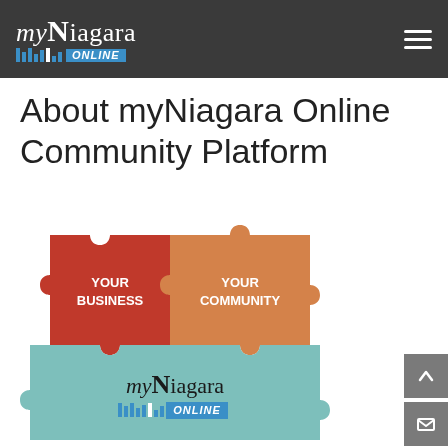myNiagara Online
About myNiagara Online Community Platform
[Figure (illustration): Two puzzle pieces interlocked: red piece labeled YOUR BUSINESS and orange piece labeled YOUR COMMUNITY on top; large teal puzzle piece with myNiagara Online logo on bottom.]